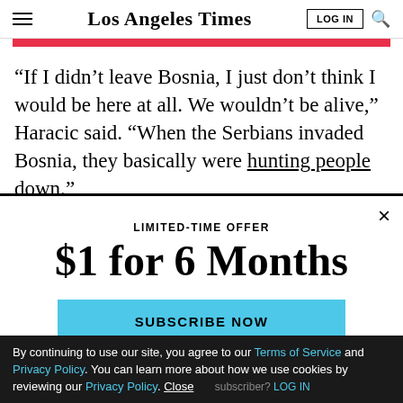Los Angeles Times
“If I didn’t leave Bosnia, I just don’t think I would be here at all. We wouldn’t be alive,” Haracic said. “When the Serbians invaded Bosnia, they basically were hunting people down.”
LIMITED-TIME OFFER
$1 for 6 Months
SUBSCRIBE NOW
By continuing to use our site, you agree to our Terms of Service and Privacy Policy. You can learn more about how we use cookies by reviewing our Privacy Policy. Close
Already a subscriber? LOG IN